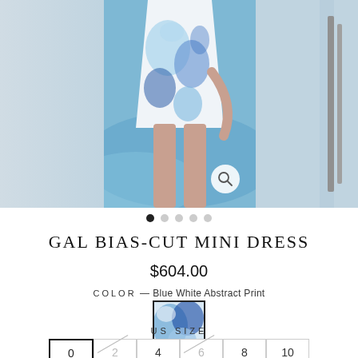[Figure (photo): Fashion product photo of a model wearing a blue white abstract print bias-cut mini dress, shown near a pool. Carousel with 5 dots, first dot active.]
GAL BIAS-CUT MINI DRESS
$604.00
COLOR — Blue White Abstract Print
[Figure (photo): Color swatch showing blue white abstract print fabric]
US SIZE
0  2  4  6  8  10